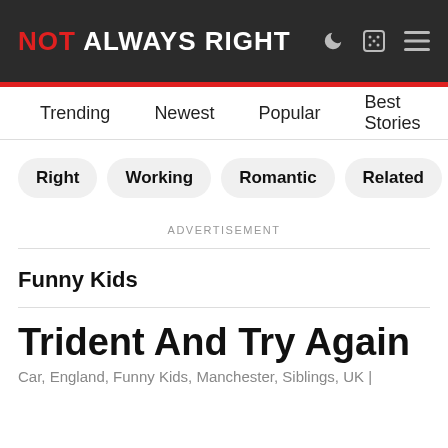NOT ALWAYS RIGHT
Trending | Newest | Popular | Best Stories | All
Right | Working | Romantic | Related | Learning
ADVERTISEMENT
Funny Kids
Trident And Try Again
Car, England, Funny Kids, Manchester, Siblings, UK |